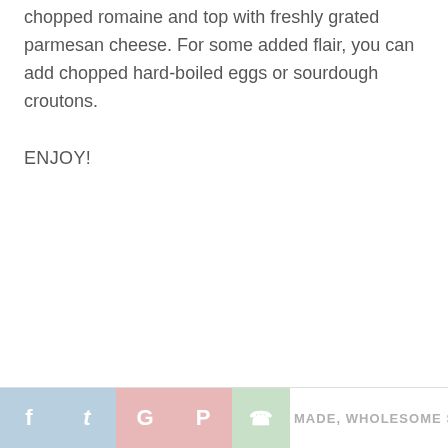chopped romaine and top with freshly grated parmesan cheese. For some added flair, you can add chopped hard-boiled eggs or sourdough croutons.
ENJOY!
MADE, WHOLESOME SALADS